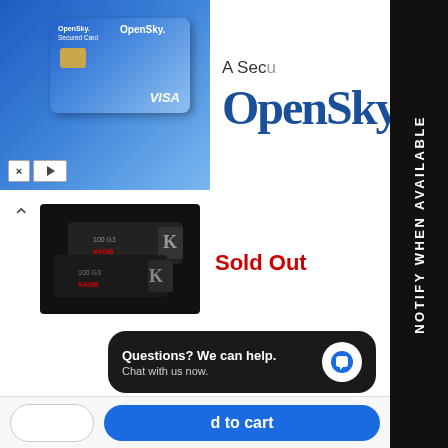[Figure (screenshot): OpenSky Secured Card advertisement banner showing a blue credit card with chip, VISA logo, and OpenSky brand logo with text 'A Secured Card']
[Figure (photo): Kingston USB flash drives (black, 64GB, USB 3.0) product image showing multiple drives]
Sold Out
[Figure (screenshot): Black vertical sidebar button with white text reading 'NOTIFY WHEN AVAILABLE']
Questions? We can help. Chat with us now.
d to cart